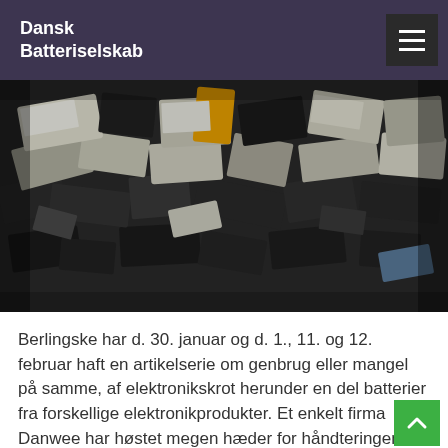Dansk Batteriselskab
[Figure (photo): Large pile of assorted used batteries and electronics components of various sizes, shapes and colors photographed from above]
Berlingske har d. 30. januar og d. 1., 11. og 12. februar haft en artikelserie om genbrug eller mangel på samme, af elektronikskrot herunder en del batterier fra forskellige elektronikprodukter.   Et enkelt firma Danwee har høstet megen hæder for håndteringen, men desværre har det vist sig, at der bag de fine ord gem